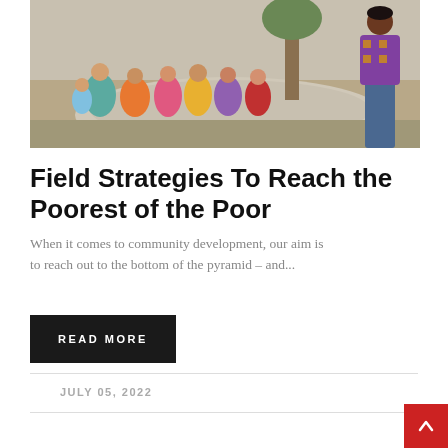[Figure (photo): Group of women in colorful traditional Indian/Bangladeshi attire sitting around a circular platform outdoors, with a person standing to the right in jeans and a patterned sweater, apparently leading a community meeting or discussion.]
Field Strategies To Reach the Poorest of the Poor
When it comes to community development, our aim is to reach out to the bottom of the pyramid – and...
READ MORE
JULY 05, 2022